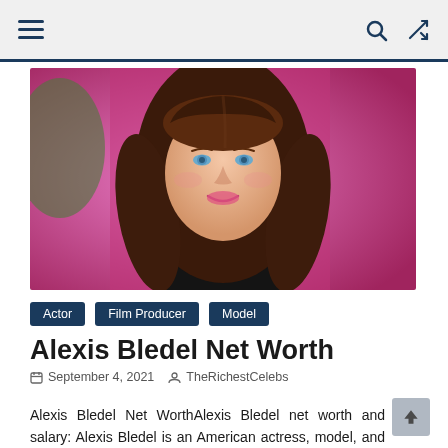≡  🔍  ⇄
[Figure (photo): Portrait photo of Alexis Bledel, a young woman with long brown hair and blue eyes, smiling, against a pink background]
Actor
Film Producer
Model
Alexis Bledel Net Worth
September 4, 2021   TheRichestCelebs
Alexis Bledel Net WorthAlexis Bledel net worth and salary: Alexis Bledel is an American actress, model, and producer who has